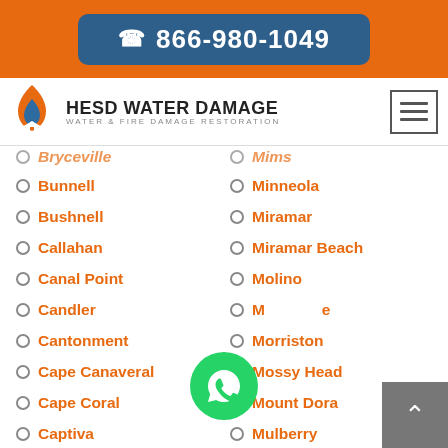866-980-1049
[Figure (logo): HESD Water Damage logo with flame icon and text WATER & FIRE DAMAGE RESTORATION]
Bryceville (partial, cut off at top)
Mims (partial, cut off at top)
Bunnell
Minneola
Bushnell
Miramar
Callahan
Miramar Beach
Canal Point
Molino
Candler
Montverde (partially obscured)
Cantonment
Morriston
Cape Canaveral
Mossy Head
Cape Coral
Mount Dora
Captiva
Mulberry
Cassadaga
Murdock
Casselberry
Myakka City